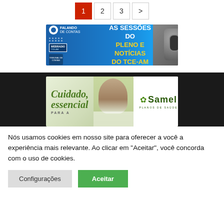1 2 3 >
[Figure (photo): TCE-AM banner: FALANDO DE CONTAS WEBRADIO. Text: ACOMPANHE AS SESSÕES DO PLENO E NOTÍCIAS DO TCE-AM. Microphone image on right.]
[Figure (photo): Samel Planos de Saúde banner. Text: Cuidado essencial PARA A. Woman smiling, Samel logo on white background.]
Nós usamos cookies em nosso site para oferecer a você a experiência mais relevante. Ao clicar em "Aceitar", você concorda com o uso de cookies.
Configurações   Aceitar